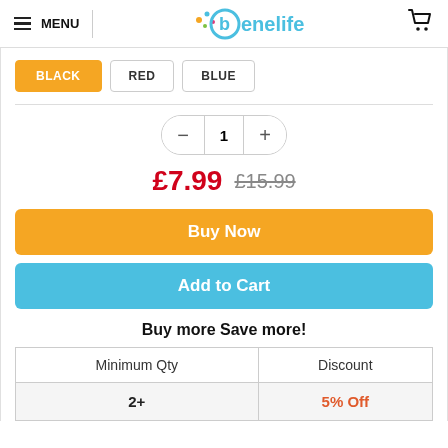MENU | benelife
BLACK
RED
BLUE
1 (quantity)
£7.99  £15.99
Buy Now
Add to Cart
Buy more Save more!
| Minimum Qty | Discount |
| --- | --- |
| 2+ | 5% Off |